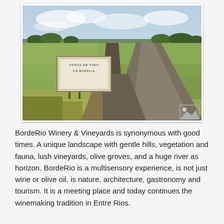[Figure (photo): Photograph of a rural road stretching into the distance through flat grassy fields with a wooden sign reading 'Venta de Vino en Bodega' in the foreground left, cloudy sky above, trees on the horizon]
BordeRio Winery & Vineyards is synonymous with good times. A unique landscape with gentle hills, vegetation and fauna, lush vineyards, olive groves, and a huge river as horizon. BordeRio is a multisensory experience, is not just wine or olive oil, is nature, architecture, gastronomy and tourism. It is a meeting place and today continues the winemaking tradition in Entre Rios.